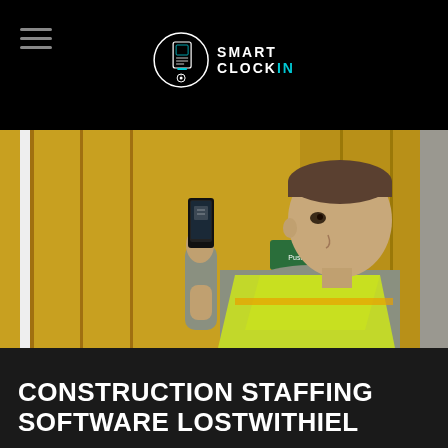Smart Clock In
[Figure (photo): A young man in a hi-vis yellow safety vest holding up a smartphone, scanning a QR code near a yellow industrial door/gate. He is looking at his phone screen from the side.]
CONSTRUCTION STAFFING SOFTWARE LOSTWITHIEL